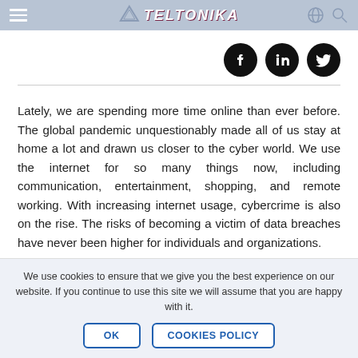TELTONIKA
[Figure (logo): Social media share buttons: Facebook, LinkedIn, Twitter (black circular icons)]
Lately, we are spending more time online than ever before. The global pandemic unquestionably made all of us stay at home a lot and drawn us closer to the cyber world. We use the internet for so many things now, including communication, entertainment, shopping, and remote working. With increasing internet usage, cybercrime is also on the rise. The risks of becoming a victim of data breaches have never been higher for individuals and organizations.
We use cookies to ensure that we give you the best experience on our website. If you continue to use this site we will assume that you are happy with it.